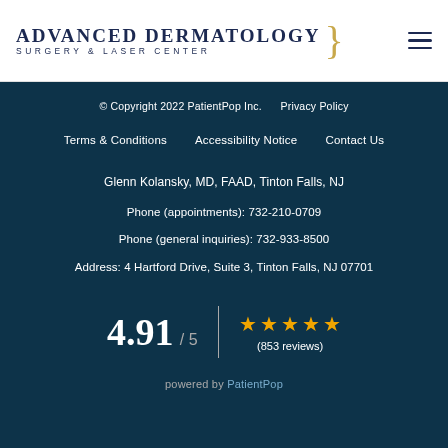[Figure (logo): Advanced Dermatology Surgery & Laser Center logo with decorative brace]
© Copyright 2022 PatientPop Inc.    Privacy Policy
Terms & Conditions    Accessibility Notice    Contact Us
Glenn Kolansky, MD, FAAD, Tinton Falls, NJ
Phone (appointments): 732-210-0709
Phone (general inquiries): 732-933-8500
Address: 4 Hartford Drive, Suite 3, Tinton Falls, NJ 07701
4.91 / 5  ★★★★★  (853 reviews)
powered by PatientPop